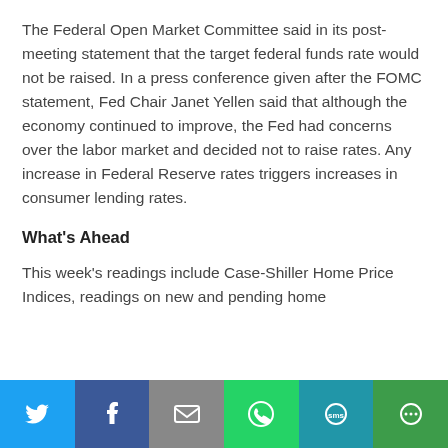The Federal Open Market Committee said in its post-meeting statement that the target federal funds rate would not be raised. In a press conference given after the FOMC statement, Fed Chair Janet Yellen said that although the economy continued to improve, the Fed had concerns over the labor market and decided not to raise rates. Any increase in Federal Reserve rates triggers increases in consumer lending rates.
What's Ahead
This week's readings include Case-Shiller Home Price Indices, readings on new and pending home